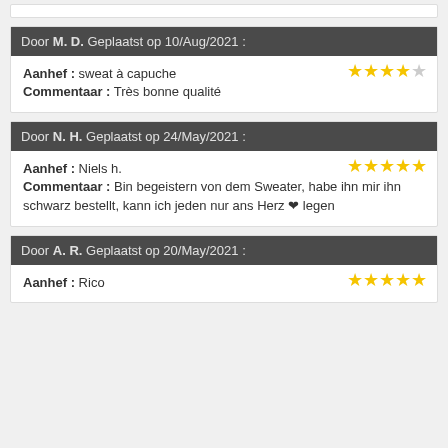Door M. D. Geplaatst op 10/Aug/2021 :
Aanhef : sweat à capuche
Commentaar : Très bonne qualité
Door N. H. Geplaatst op 24/May/2021 :
Aanhef : Niels h.
Commentaar : Bin begeistern von dem Sweater, habe ihn mir ihn schwarz bestellt, kann ich jeden nur ans Herz ❤ legen
Door A. R. Geplaatst op 20/May/2021 :
Aanhef : Rico